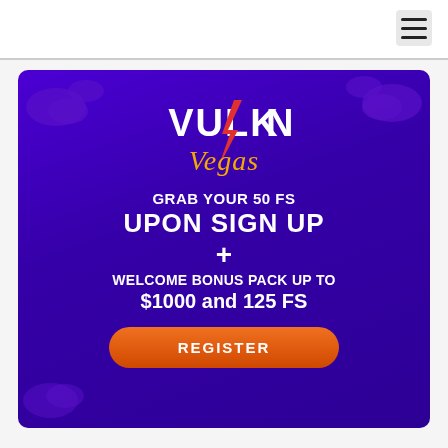[Figure (screenshot): Vulkan Vegas casino promotional banner with purple background showing the Vulkan Vegas logo and text: GRAB YOUR 50 FS UPON SIGN UP + WELCOME BONUS PACK UP TO $1000 and 125 FS, with an orange REGISTER button.]